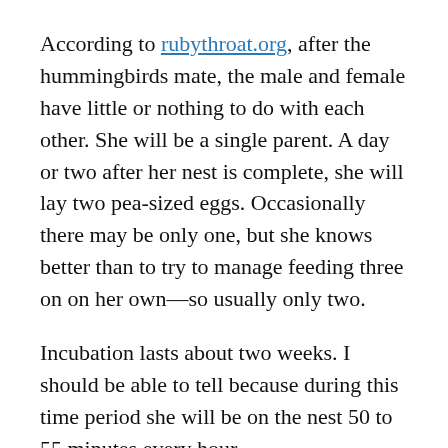According to rubythroat.org, after the hummingbirds mate, the male and female have little or nothing to do with each other. She will be a single parent. A day or two after her nest is complete, she will lay two pea-sized eggs. Occasionally there may be only one, but she knows better than to try to manage feeding three on on her own—so usually only two.
Incubation lasts about two weeks. I should be able to tell because during this time period she will be on the nest 50 to 55 minutes every hour.
When the chicks hatch they are about 2 cm in length and not able to keep their bodies warm. The mother still stays with them, but leaves